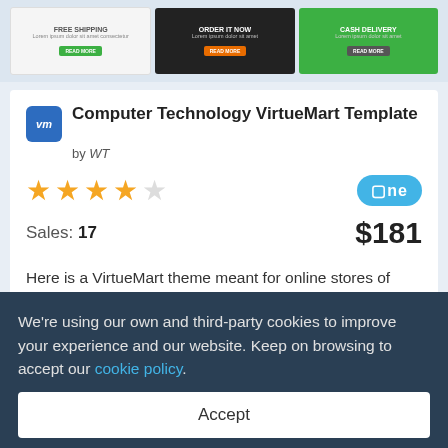[Figure (screenshot): Banner advertisement strip showing three promotional banners: a light-colored 'free' banner, a dark 'ORDER' banner, and a green 'CASH' banner, each with a call-to-action button.]
Computer Technology VirtueMart Template
by WT
[Figure (other): 4 out of 5 star rating displayed in gold stars, and an 'one' badge in blue rounded rectangle]
Sales: 17   $181
Here is a VirtueMart theme meant for online stores of computer hardware, software, and any electronic devices. Easy to install and use, it is consistent with the latest versions of browsers and meets SEO requirements, which allows increasing traffic...
We're using our own and third-party cookies to improve your experience and our website. Keep on browsing to accept our cookie policy.
Accept
SMARTSTORE